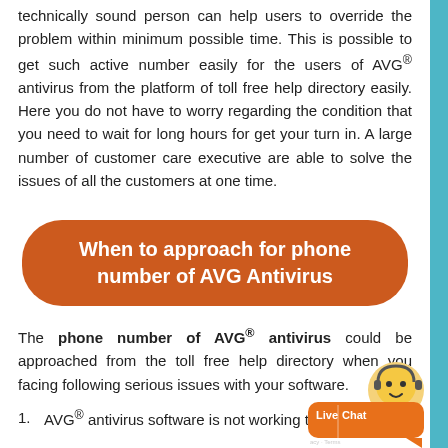technically sound person can help users to override the problem within minimum possible time. This is possible to get such active number easily for the users of AVG® antivirus from the platform of toll free help directory easily. Here you do not have to worry regarding the condition that you need to wait for long hours for get your turn in. A large number of customer care executive are able to solve the issues of all the customers at one time.
When to approach for phone number of AVG Antivirus
The phone number of AVG® antivirus could be approached from the toll free help directory when you facing following serious issues with your software.
AVG® antivirus software is not working to provide